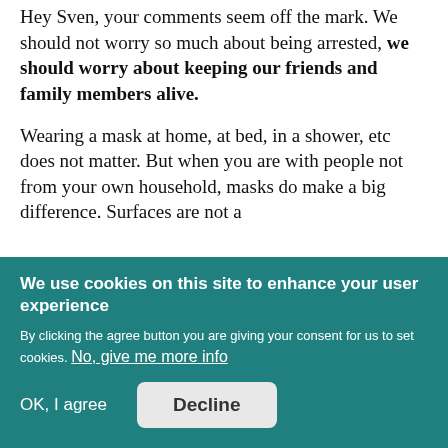Hey Sven, your comments seem off the mark. We should not worry so much about being arrested, we should worry about keeping our friends and family members alive.

Wearing a mask at home, at bed, in a shower, etc does not matter. But when you are with people not from your own household, masks do make a big difference. Surfaces are not a
We use cookies on this site to enhance your user experience

By clicking the agree button you are giving your consent for us to set cookies. No, give me more info

OK, I agree   Decline